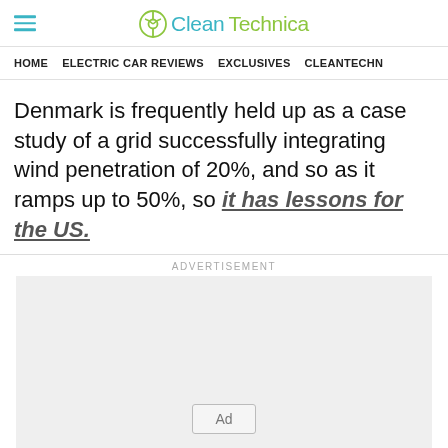CleanTechnica
HOME   ELECTRIC CAR REVIEWS   EXCLUSIVES   CLEANTECHN
Denmark is frequently held up as a case study of a grid successfully integrating wind penetration of 20%, and so as it ramps up to 50%, so it has lessons for the US.
[Figure (other): Advertisement placeholder box with 'Ad' button label]